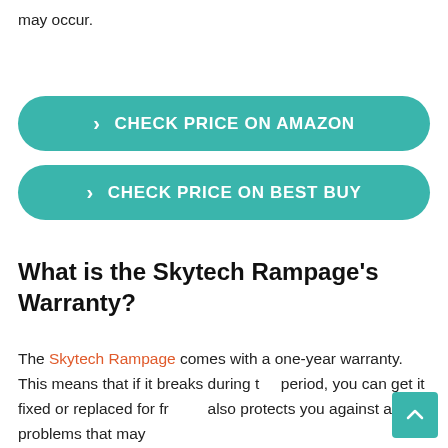may occur.
[Figure (other): Teal rounded button labeled 'CHECK PRICE ON AMAZON' with a right-arrow chevron]
[Figure (other): Teal rounded button labeled 'CHECK PRICE ON BEST BUY' with a right-arrow chevron]
What is the Skytech Rampage's Warranty?
The Skytech Rampage comes with a one-year warranty. This means that if it breaks during the period, you can get it fixed or replaced for free. It also protects you against any problems that may